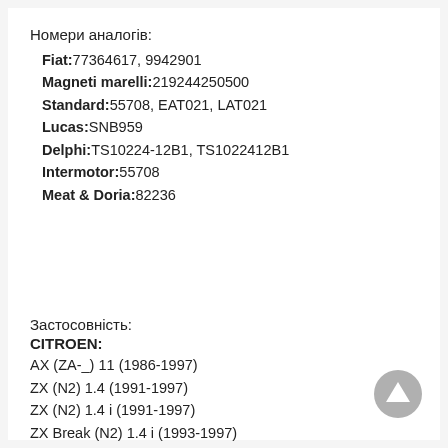Номери аналогів:
Fiat: 77364617, 9942901
Magneti maralli: 219244250500
Standard: 55708, EAT021, LAT021
Lucas: SNB959
Delphi: TS10224-12B1, TS1022412B1
Intermotor: 55708
Meat & Doria: 82236
Застосовність:
CITROEN:
AX (ZA-_) 11 (1986-1997)
ZX (N2) 1.4 (1991-1997)
ZX (N2) 1.4 i (1991-1997)
ZX Break (N2) 1.4 i (1993-1997)